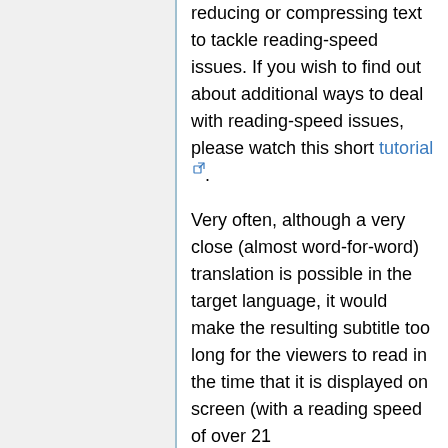reducing or compressing text to tackle reading-speed issues. If you wish to find out about additional ways to deal with reading-speed issues, please watch this short tutorial.
Very often, although a very close (almost word-for-word) translation is possible in the target language, it would make the resulting subtitle too long for the viewers to read in the time that it is displayed on screen (with a reading speed of over 21 characters/second), or too long to fall within the rules for the max number of characters in a line (42) or the whole subtitle (84) (learn more about these technical style rules by watching this tutorial). In these cases, you need to "compress" (reduce) the text in the subtitle. Transcribing is a form of translation too, from the spoken to the